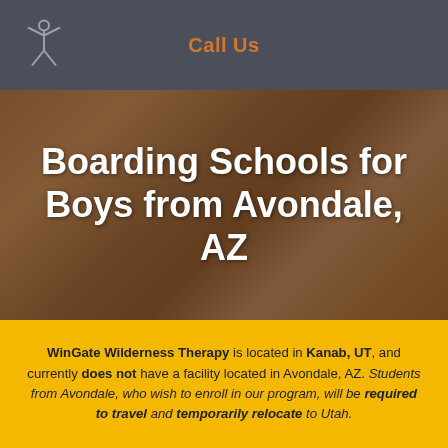Call Us
Boarding Schools for Boys from Avondale, AZ
WinGate Wilderness Therapy is located in Kanab, UT, and currently does not have a facility located in Avondale, AZ. Students from Avondale, who wish to enroll in our program, will be required to travel and temporarily relocate to Utah.